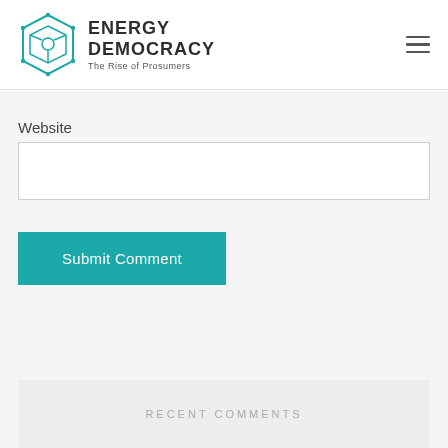[Figure (logo): Energy Democracy logo with teal hexagonal geometric icon and bold text 'ENERGY DEMOCRACY' with subtitle 'The Rise of Prosumers']
Website
Submit Comment
RECENT COMMENTS